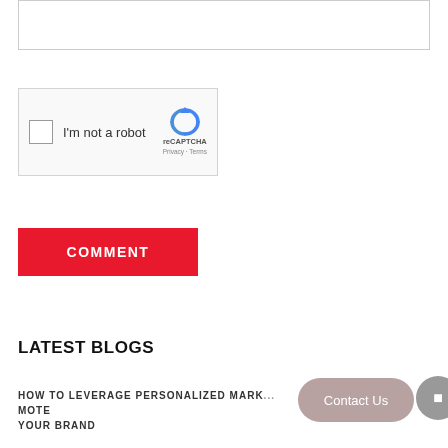[Figure (screenshot): Text area input box with border, partially visible at top of page]
[Figure (screenshot): reCAPTCHA widget with checkbox labeled 'I'm not a robot', reCAPTCHA logo, and Privacy/Terms links]
COMMENT
LATEST BLOGS
HOW TO LEVERAGE PERSONALIZED MARK... MOTE YOUR BRAND
[Figure (screenshot): Contact Us button overlay (rounded rectangle, muted red/mauve color)]
[Figure (screenshot): Gray circular button with icon, partially visible at right edge]